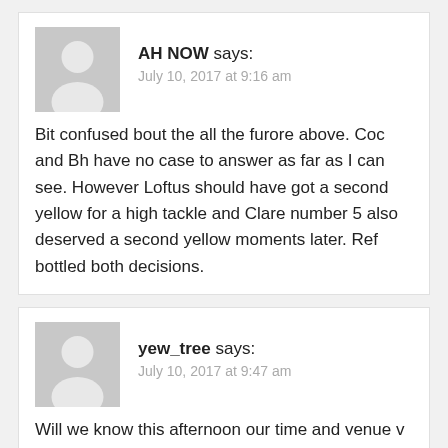AH NOW says:
July 10, 2017 at 9:16 am
Bit confused bout the all the furore above. Coc and Bh have no case to answer as far as I can see. However Loftus should have got a second yellow for a high tackle and Clare number 5 also deserved a second yellow moments later. Ref bottled both decisions.
yew_tree says:
July 10, 2017 at 9:47 am
Will we know this afternoon our time and venue v Cork?
Rochford's Brigade says:
July 10, 2017 at 10:01 am